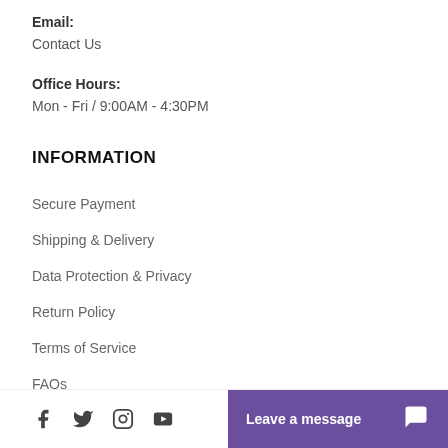Email:
Contact Us
Office Hours:
Mon - Fri / 9:00AM - 4:30PM
INFORMATION
Secure Payment
Shipping & Delivery
Data Protection & Privacy
Return Policy
Terms of Service
FAQs
Blog
Reviews
Sitemap
[Figure (other): Social media icons: Facebook, Twitter, Instagram, YouTube; and a purple Leave a message chat button]